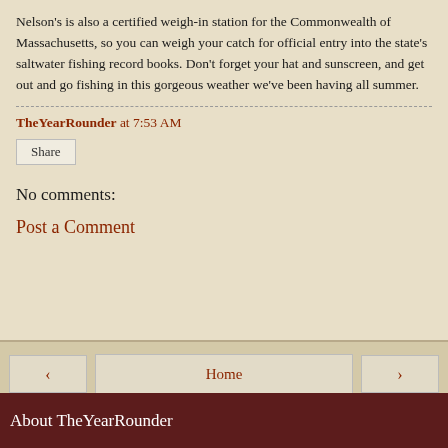Nelson's is also a certified weigh-in station for the Commonwealth of Massachusetts, so you can weigh your catch for official entry into the state's saltwater fishing record books. Don't forget your hat and sunscreen, and get out and go fishing in this gorgeous weather we've been having all summer.
TheYearRounder at 7:53 AM
Share
No comments:
Post a Comment
Home
View web version
About TheYearRounder